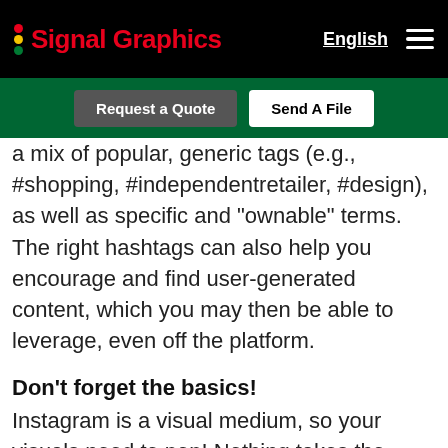Signal Graphics | English
a mix of popular, generic tags (e.g., #shopping, #independentretailer, #design), as well as specific and “ownable” terms. The right hashtags can also help you encourage and find user-generated content, which you may then be able to leverage, even off the platform.
Don't forget the basics!
Instagram is a visual medium, so your visuals need to pop! Nothing takes the place of high-quality, professional photography and video